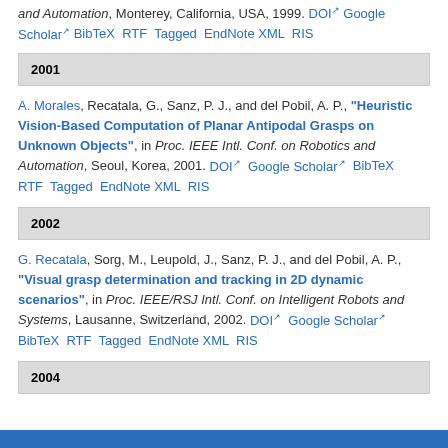and Automation, Monterey, California, USA, 1999. DOI Google Scholar BibTeX RTF Tagged EndNote XML RIS
2001
A. Morales, Recatala, G., Sanz, P. J., and del Pobil, A. P., "Heuristic Vision-Based Computation of Planar Antipodal Grasps on Unknown Objects", in Proc. IEEE Intl. Conf. on Robotics and Automation, Seoul, Korea, 2001. DOI Google Scholar BibTeX RTF Tagged EndNote XML RIS
2002
G. Recatala, Sorg, M., Leupold, J., Sanz, P. J., and del Pobil, A. P., "Visual grasp determination and tracking in 2D dynamic scenarios", in Proc. IEEE/RSJ Intl. Conf. on Intelligent Robots and Systems, Lausanne, Switzerland, 2002. DOI Google Scholar BibTeX RTF Tagged EndNote XML RIS
2004